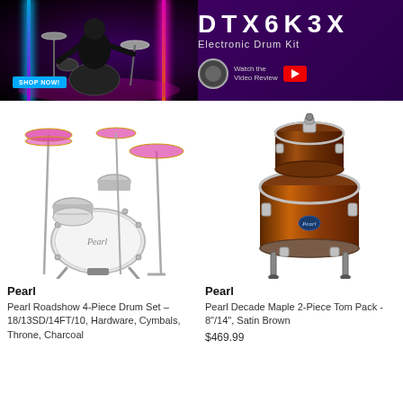[Figure (photo): Banner advertisement for Yamaha DTX6K3X Electronic Drum Kit showing a drummer playing in purple/neon lighting on the left, and the product name 'DTX6K3X Electronic Drum Kit' with a YouTube video review button on the right. A blue 'SHOP NOW!' button is visible.]
[Figure (photo): Pearl Roadshow 4-Piece Drum Set in charcoal finish, showing kick drum, snare, tom, floor tom, cymbals, and hardware stands on white background.]
Pearl
Pearl Roadshow 4-Piece Drum Set – 18/13SD/14FT/10, Hardware, Cymbals, Throne, Charcoal
[Figure (photo): Pearl Decade Maple 2-Piece Tom Pack in Satin Brown finish on white background, showing rack tom and floor tom with chrome hardware.]
Pearl
Pearl Decade Maple 2-Piece Tom Pack - 8"/14", Satin Brown
$469.99